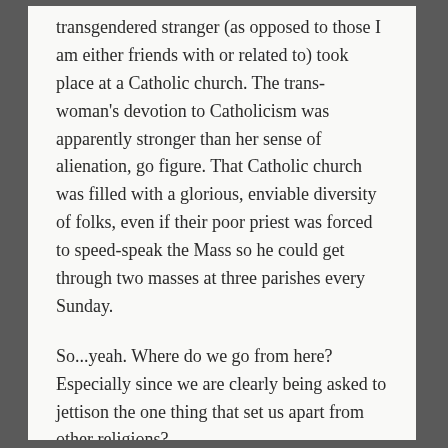transgendered stranger (as opposed to those I am either friends with or related to) took place at a Catholic church. The trans-woman's devotion to Catholicism was apparently stronger than her sense of alienation, go figure. That Catholic church was filled with a glorious, enviable diversity of folks, even if their poor priest was forced to speed-speak the Mass so he could get through two masses at three parishes every Sunday.
So...yeah. Where do we go from here? Especially since we are clearly being asked to jettison the one thing that set us apart from other religions?
★ Liked by 2 people